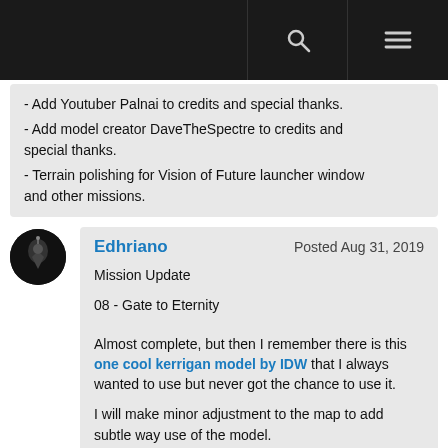- Add Youtuber Palnai to credits and special thanks.
- Add model creator DaveTheSpectre to credits and special thanks.
- Terrain polishing for Vision of Future launcher window and other missions.
Edhriano   Posted Aug 31, 2019
Mission Update
08 - Gate to Eternity
Almost complete, but then I remember there is this one cool kerrigan model by IDW that I always wanted to use but never got the chance to use it.
I will make minor adjustment to the map to add subtle way use of the model.